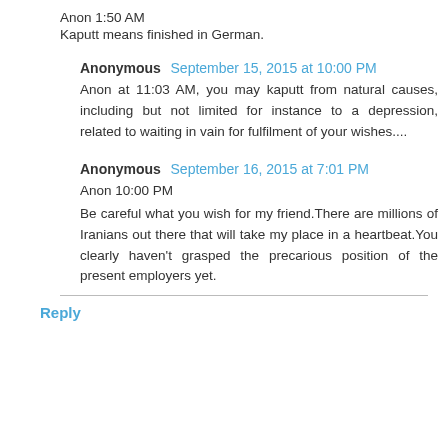Anon 1:50 AM
Kaputt means finished in German.
Anonymous  September 15, 2015 at 10:00 PM
Anon at 11:03 AM, you may kaputt from natural causes, including but not limited for instance to a depression, related to waiting in vain for fulfilment of your wishes....
Anonymous  September 16, 2015 at 7:01 PM
Anon 10:00 PM
Be careful what you wish for my friend.There are millions of Iranians out there that will take my place in a heartbeat.You clearly haven't grasped the precarious position of the present employers yet.
Reply